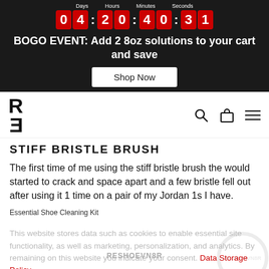[Figure (screenshot): Countdown timer showing Days: 04, Hours: 20, Minutes: 40, Seconds: 31 on a dark background]
BOGO EVENT: Add 2 8oz solutions to your cart and save
Shop Now
[Figure (logo): RE logo letters in bold black, rotated, for Reshoevn8r brand]
STIFF BRISTLE BRUSH
The first time of me using the stiff bristle brush the would started to crack and space apart and a few bristle fell out after using it 1 time on a pair of my Jordan 1s I have.
Essential Shoe Cleaning Kit
This website stores data such as cookies to enable essential site functionality, as well as marketing, personalization, and analytics. By remaining on this website you indicate your consent. Data Storage Policy
We are very sorry to hear about this. Please reach out to info@reshoevn8r.com and they can assist with